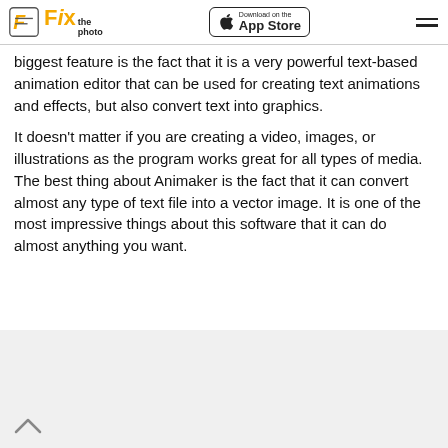Fix the photo — Download on the App Store
biggest feature is the fact that it is a very powerful text-based animation editor that can be used for creating text animations and effects, but also convert text into graphics.
It doesn't matter if you are creating a video, images, or illustrations as the program works great for all types of media. The best thing about Animaker is the fact that it can convert almost any type of text file into a vector image. It is one of the most impressive things about this software that it can do almost anything you want.
[Figure (screenshot): Light grey content area with a chevron/up arrow icon in the lower left, indicating a back-to-top or collapsed section.]